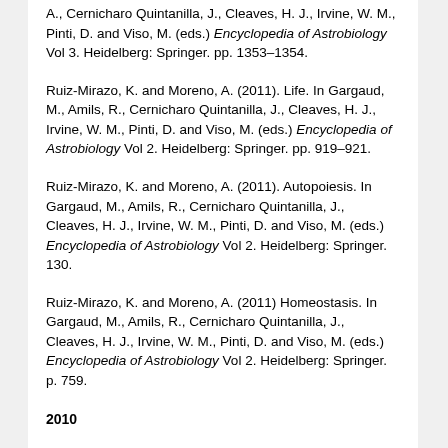A., Cernicharo Quintanilla, J., Cleaves, H. J., Irvine, W. M., Pinti, D. and Viso, M. (eds.) Encyclopedia of Astrobiology Vol 3. Heidelberg: Springer. pp. 1353–1354.
Ruiz-Mirazo, K. and Moreno, A. (2011). Life. In Gargaud, M., Amils, R., Cernicharo Quintanilla, J., Cleaves, H. J., Irvine, W. M., Pinti, D. and Viso, M. (eds.) Encyclopedia of Astrobiology Vol 2. Heidelberg: Springer. pp. 919–921.
Ruiz-Mirazo, K. and Moreno, A. (2011). Autopoiesis. In Gargaud, M., Amils, R., Cernicharo Quintanilla, J., Cleaves, H. J., Irvine, W. M., Pinti, D. and Viso, M. (eds.) Encyclopedia of Astrobiology Vol 2. Heidelberg: Springer. 130.
Ruiz-Mirazo, K. and Moreno, A. (2011) Homeostasis. In Gargaud, M., Amils, R., Cernicharo Quintanilla, J., Cleaves, H. J., Irvine, W. M., Pinti, D. and Viso, M. (eds.) Encyclopedia of Astrobiology Vol 2. Heidelberg: Springer. p. 759.
2010